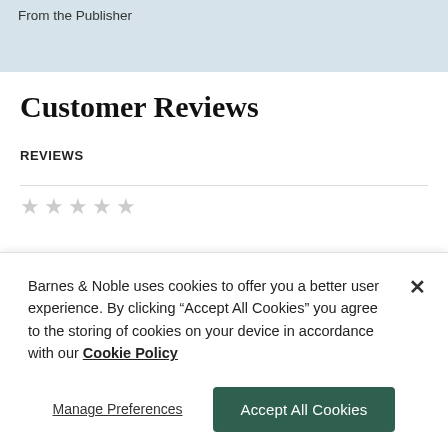From the Publisher
Customer Reviews
REVIEWS
★★★★★
Barnes & Noble uses cookies to offer you a better user experience. By clicking "Accept All Cookies" you agree to the storing of cookies on your device in accordance with our Cookie Policy
Manage Preferences
Accept All Cookies